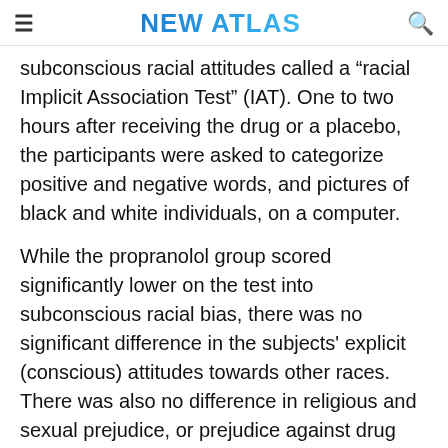NEW ATLAS
subconscious racial attitudes called a “racial Implicit Association Test” (IAT). One to two hours after receiving the drug or a placebo, the participants were asked to categorize positive and negative words, and pictures of black and white individuals, on a computer.
While the propranolol group scored significantly lower on the test into subconscious racial bias, there was no significant difference in the subjects' explicit (conscious) attitudes towards other races. There was also no difference in religious and sexual prejudice, or prejudice against drug addicts.
NEXT »
on Newz Online